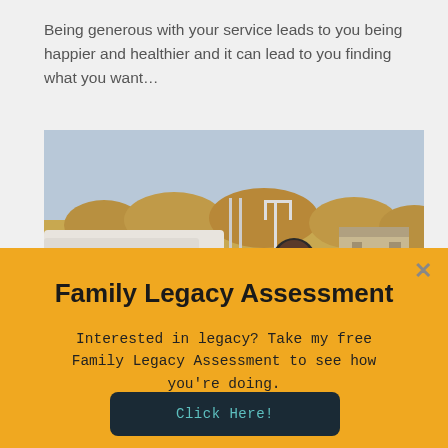Being generous with your service leads to you being happier and healthier and it can lead to you finding what you want…
[Figure (photo): A football player in a yellow and blue jersey leaning against a structure on a sports field, with trees and a building in the background.]
Family Legacy Assessment
Interested in legacy? Take my free Family Legacy Assessment to see how you're doing.
Click Here!